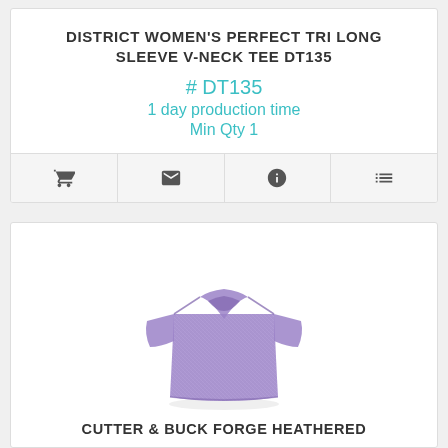DISTRICT WOMEN'S PERFECT TRI LONG SLEEVE V-NECK TEE DT135
# DT135
1 day production time
Min Qty 1
[Figure (photo): A purple/lavender heathered women's v-neck short sleeve t-shirt on a white background]
CUTTER & BUCK FORGE HEATHERED